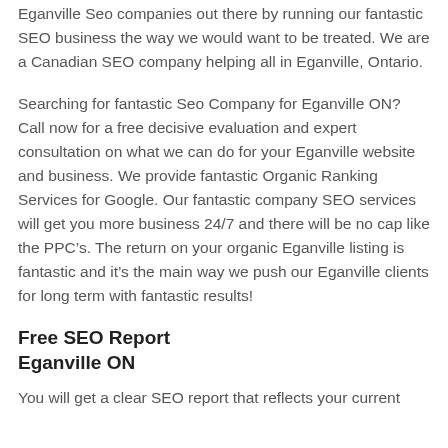Eganville Seo companies out there by running our fantastic SEO business the way we would want to be treated. We are a Canadian SEO company helping all in Eganville, Ontario.
Searching for fantastic Seo Company for Eganville ON? Call now for a free decisive evaluation and expert consultation on what we can do for your Eganville website and business. We provide fantastic Organic Ranking Services for Google. Our fantastic company SEO services will get you more business 24/7 and there will be no cap like the PPC’s. The return on your organic Eganville listing is fantastic and it’s the main way we push our Eganville clients for long term with fantastic results!
Free SEO Report Eganville ON
You will get a clear SEO report that reflects your current